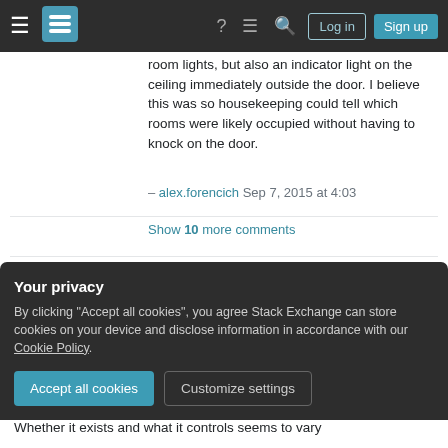Stack Exchange navigation bar with hamburger menu, logo, help, chat, search icons, Log in and Sign up buttons
room lights, but also an indicator light on the ceiling immediately outside the door. I believe this was so housekeeping could tell which rooms were likely occupied without having to knock on the door.
– alex.forencich Sep 7, 2015 at 4:03
Show 10 more comments
I have seen these cards control
everything including plugs (so annoying to leave your laptop charging while you go out for the day, and come back to find the plug was not
Your privacy
By clicking "Accept all cookies", you agree Stack Exchange can store cookies on your device and disclose information in accordance with our Cookie Policy.
Accept all cookies
Customize settings
Whether it exists and what it controls seems to vary